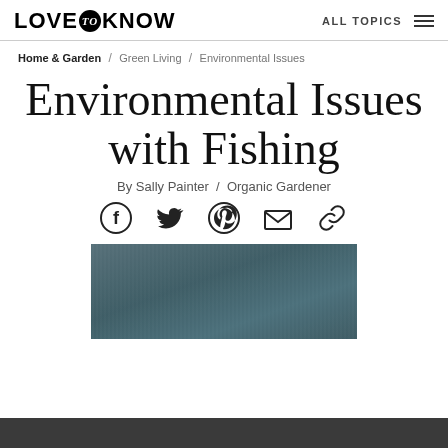LOVE to KNOW  ALL TOPICS
Home & Garden / Green Living / Environmental Issues
Environmental Issues with Fishing
By Sally Painter / Organic Gardener
[Figure (infographic): Social sharing icons: Facebook, Twitter, Pinterest, Email, Link]
[Figure (photo): Dark teal/blue-grey water surface texture image]